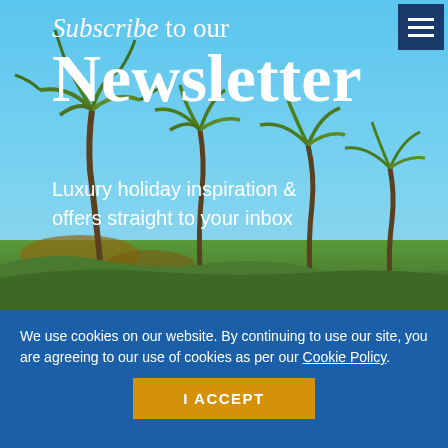[Figure (photo): Tropical beach scene with palm trees against a blue sky, serving as hero background for a newsletter subscription page]
Subscribe to our Newsletter
Luxury holiday inspiration & offers straight to your inbox
We use cookies on our website. By continuing to use our site, you are agreeing to our use of cookies as per our Cookie Policy.